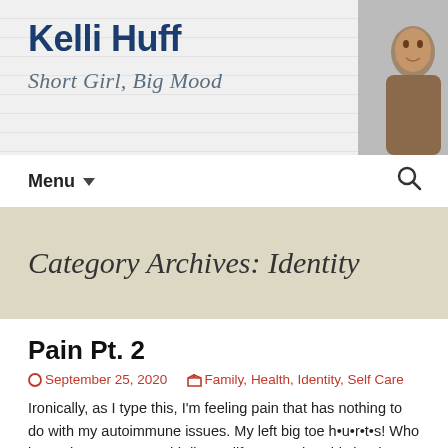Kelli Huff – Short Girl, Big Mood
Category Archives: Identity
Pain Pt. 2
September 25, 2020   Family, Health, Identity, Self Care
Ironically, as I type this, I'm feeling pain that has nothing to do with my autoimmune issues. My left big toe h•u•r•t•s! Who knew that one toe could disrupt life so much? This is where I have been alllllllllllll week.